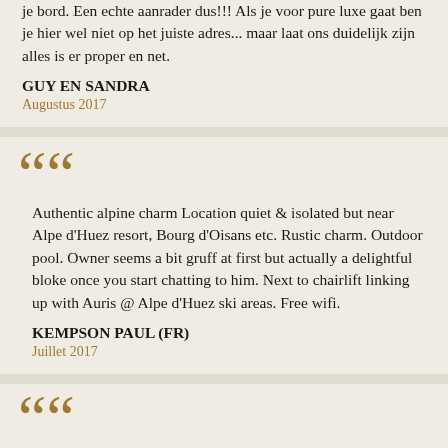je bord. Een echte aanrader dus!!! Als je voor pure luxe gaat ben je hier wel niet op het juiste adres... maar laat ons duidelijk zijn alles is er proper en net.
GUY EN SANDRA
Augustus 2017
Authentic alpine charm Location quiet & isolated but near Alpe d'Huez resort, Bourg d'Oisans etc. Rustic charm. Outdoor pool. Owner seems a bit gruff at first but actually a delightful bloke once you start chatting to him. Next to chairlift linking up with Auris @ Alpe d'Huez ski areas. Free wifi.
KEMPSON PAUL (FR)
Juillet 2017